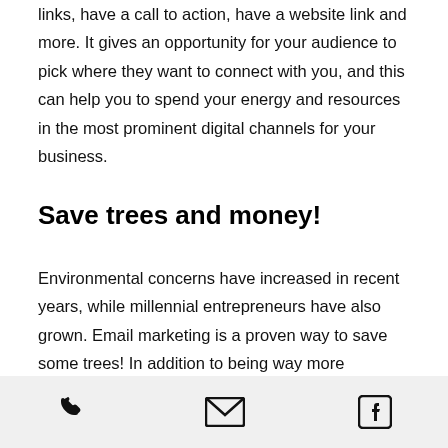links, have a call to action, have a website link and more. It gives an opportunity for your audience to pick where they want to connect with you, and this can help you to spend your energy and resources in the most prominent digital channels for your business.
Save trees and money!
Environmental concerns have increased in recent years, while millennial entrepreneurs have also grown. Email marketing is a proven way to save some trees! In addition to being way more economical and efficient way to do marketing. Save on stamps, envelopes
phone | email | facebook icons